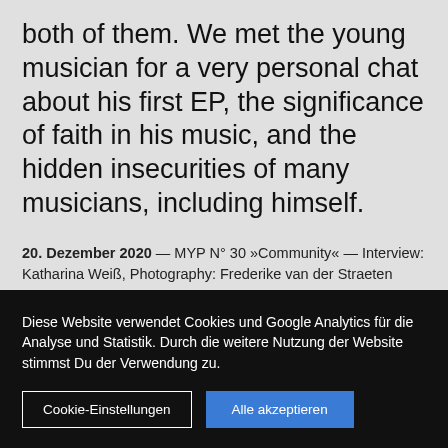both of them. We met the young musician for a very personal chat about his first EP, the significance of faith in his music, and the hidden insecurities of many musicians, including himself.
20. Dezember 2020 — MYP N° 30 »Community« — Interview: Katharina Weiß, Photography: Frederike van der Straeten
Diese Website verwendet Cookies und Google Analytics für die Analyse und Statistik. Durch die weitere Nutzung der Website stimmst Du der Verwendung zu.